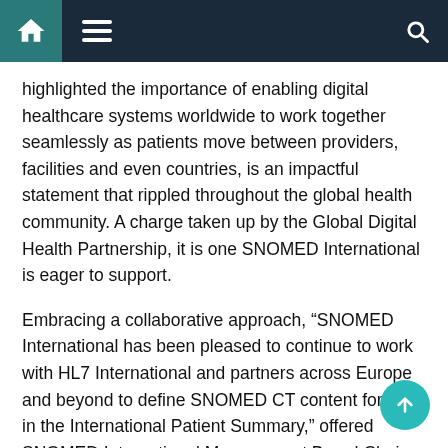Navigation bar with home, menu, and search icons
highlighted the importance of enabling digital healthcare systems worldwide to work together seamlessly as patients move between providers, facilities and even countries, is an impactful statement that rippled throughout the global health community. A charge taken up by the Global Digital Health Partnership, it is one SNOMED International is eager to support.
Embracing a collaborative approach, “SNOMED International has been pleased to continue to work with HL7 International and partners across Europe and beyond to define SNOMED CT content for use in the International Patient Summary,” offered SNOMED International Management Board Chair, Joanne Burns.
Continuing to act in the spirit of the IPS Freeset, SNOMED International has committed to...